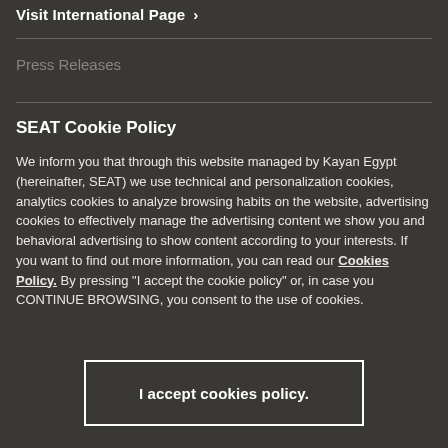Visit International Page >
Press Releases
SEAT Cookie Policy
We inform you that through this website managed by Kayan Egypt (hereinafter, SEAT) we use technical and personalization cookies, analytics cookies to analyze browsing habits on the website, advertising cookies to effectively manage the advertising content we show you and behavioral advertising to show content according to your interests. If you want to find out more information, you can read our Cookies Policy. By pressing "I accept the cookie policy" or, in case you CONTINUE BROWSING, you consent to the use of cookies.
I accept cookies policy.